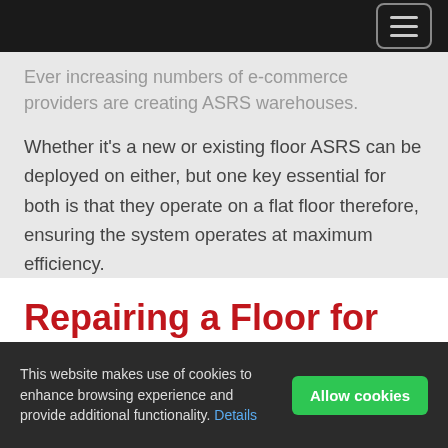Ever increasing numbers of e-commerce providers are creating ASRS warehouses.
Whether it's a new or existing floor ASRS can be deployed on either, but one key essential for both is that they operate on a flat floor therefore, ensuring the system operates at maximum efficiency.
Repairing a Floor for an Automated System
Another key to the success of an automated system
This website makes use of cookies to enhance browsing experience and provide additional functionality. Details Allow cookies